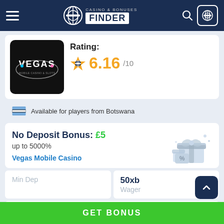Casino & Bonuses Finder
[Figure (screenshot): Vegas Mobile Casino logo - black background with VEGAS text in neon colors]
Rating: 6.16/10
Available for players from Botswana
No Deposit Bonus: £5 up to 5000%
Vegas Mobile Casino
| Min Dep | 50xb Wager |
| --- | --- |
|   |   |
Gibraltar License
GET BONUS